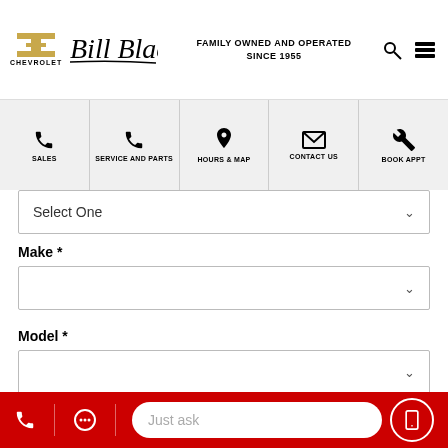[Figure (logo): Chevrolet bowtie logo with CHEVROLET text below, Bill Black script logo, and tagline FAMILY OWNED AND OPERATED SINCE 1955 with search and menu icons]
[Figure (screenshot): Navigation bar with icons: SALES (phone), SERVICE AND PARTS (phone), HOURS & MAP (location pin), CONTACT US (envelope), BOOK APPT (wrench)]
Select One
Make *
Model *
Trim
[Figure (screenshot): Bottom red bar with phone icon, chat icon, Just ask input field, and phone circle button]